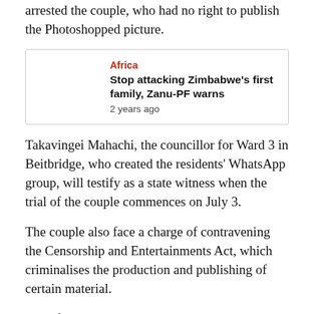arrested the couple, who had no right to publish the Photoshopped picture.
[Figure (other): Related article box: Africa category, headline 'Stop attacking Zimbabwe's first family, Zanu-PF warns', timestamp '2 years ago']
Takavingei Mahachi, the councillor for Ward 3 in Beitbridge, who created the residents' WhatsApp group, will testify as a state witness when the trial of the couple commences on July 3.
The couple also face a charge of contravening the Censorship and Entertainments Act, which criminalises the production and publishing of certain material.
They face up to a year in prison.
Observers and government critics have expressed concern at the increase in the number of people who of late are being persecuted for dissent and expressing